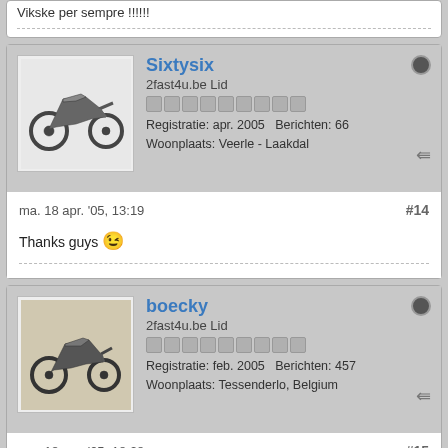Vikske per sempre !!!!!!
Sixtysix
2fast4u.be Lid
Registratie: apr. 2005   Berichten: 66
Woonplaats: Veerle - Laakdal
ma. 18 apr. '05, 13:19  #14
Thanks guys 😉
boecky
2fast4u.be Lid
Registratie: feb. 2005   Berichten: 457
Woonplaats: Tessenderlo, Belgium
ma. 18 apr. '05, 18:28  #15
ne gelukkige verjaardag en nog veel rij plezier